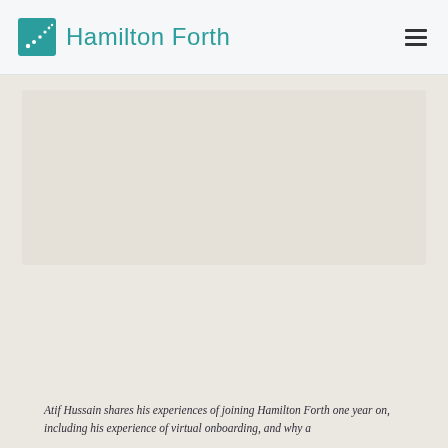Hamilton Forth
[Figure (photo): A large beige/tan placeholder image area occupying the upper-middle section of the page]
Atif Hussain shares his experiences of joining Hamilton Forth one year on, including his experience of virtual onboarding, and why a